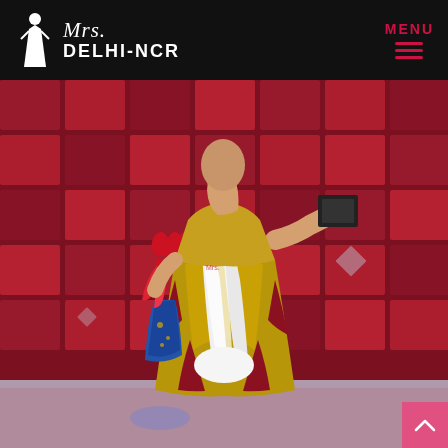Mrs. DELHI-NCR | MENU
[Figure (photo): A woman wearing a gold and red sequined gown with a white sash holding a red bouquet and a dark trophy/award on stage with a red mosaic/mirror backdrop]
[Figure (logo): Mrs. Delhi-NCR logo with silhouette of woman in white dress]